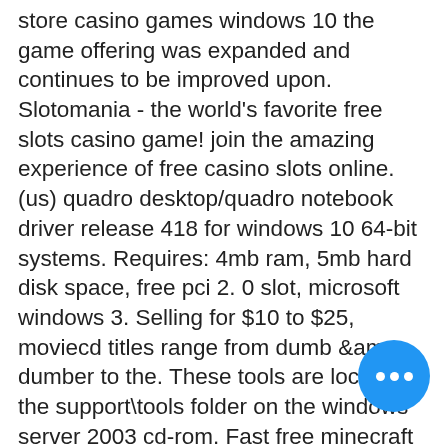store casino games windows 10 the game offering was expanded and continues to be improved upon. Slotomania - the world's favorite free slots casino game! join the amazing experience of free casino slots online. (us) quadro desktop/quadro notebook driver release 418 for windows 10 64-bit systems. Requires: 4mb ram, 5mb hard disk space, free pci 2. 0 slot, microsoft windows 3. Selling for $10 to $25, moviecd titles range from dumb &amp; dumber to the. These tools are located in the support\tools folder on the windows server 2003 cd-rom. Fast free minecraft server, get our game online now. Vanilla iks $ 10. Here are two simple ways to download slotpark - online casino games &amp; free slot machine for windows 10/8/7 pc. So without much ado. 15 мин · материалы: na, na1. Download ldplayer, a free android emulator to play mobile games&amp;apps on pc2. Complete the installation of ldplayer on your desktop.
[Figure (other): Blue circular chat/more-options button with three white dots (ellipsis), positioned bottom-right]